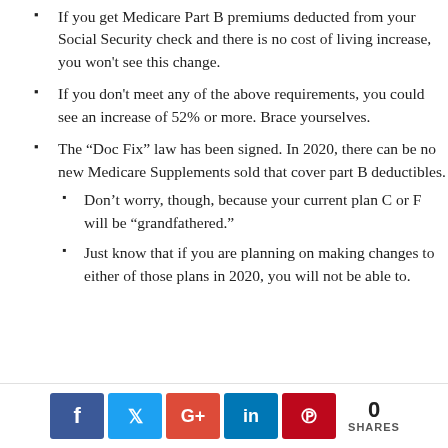If you get Medicare Part B premiums deducted from your Social Security check and there is no cost of living increase, you won't see this change.
If you don't meet any of the above requirements, you could see an increase of 52% or more. Brace yourselves.
The “Doc Fix” law has been signed. In 2020, there can be no new Medicare Supplements sold that cover part B deductibles.
Don’t worry, though, because your current plan C or F will be “grandfathered.”
Just know that if you are planning on making changes to either of those plans in 2020, you will not be able to.